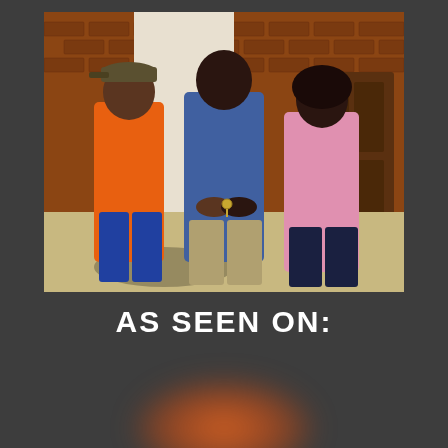[Figure (photo): Three people standing in front of a brick house doorway. The man on the left wears an orange t-shirt and cap. The man in the center wears a blue polo shirt and khaki pants. The woman on the right wears a pink shirt and dark pants. They appear to be exchanging house keys.]
AS SEEN ON:
[Figure (logo): Blurred/redacted logo with orange and red tones, heavily blurred to obscure the brand identity.]